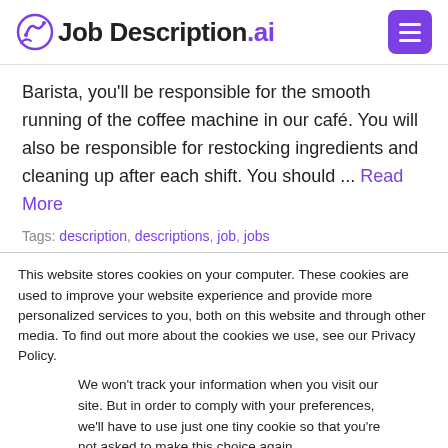Job Description.ai
Barista, you'll be responsible for the smooth running of the coffee machine in our café. You will also be responsible for restocking ingredients and cleaning up after each shift. You should ... Read More
Tags: description, descriptions, job, jobs
This website stores cookies on your computer. These cookies are used to improve your website experience and provide more personalized services to you, both on this website and through other media. To find out more about the cookies we use, see our Privacy Policy.
We won't track your information when you visit our site. But in order to comply with your preferences, we'll have to use just one tiny cookie so that you're not asked to make this choice again.
Accept
Decline